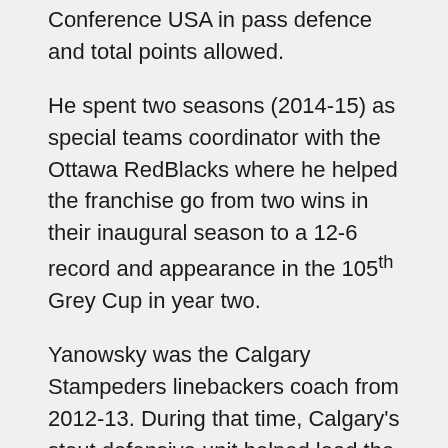Conference USA in pass defence and total points allowed.
He spent two seasons (2014-15) as special teams coordinator with the Ottawa RedBlacks where he helped the franchise go from two wins in their inaugural season to a 12-6 record and appearance in the 105th Grey Cup in year two.
Yanowsky was the Calgary Stampeders linebackers coach from 2012-13. During that time, Calgary's stout defensive unit helped lead the squad to an appearance in the 100th Grey Cup followed by a 13-5 campaign and first place finish in the West in 2013.
Prior to joining the professional coaching ranks,